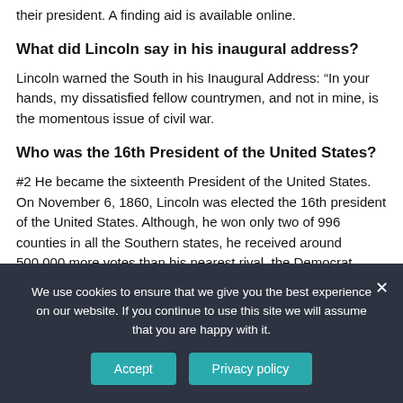their president. A finding aid is available online.
What did Lincoln say in his inaugural address?
Lincoln warned the South in his Inaugural Address: “In your hands, my dissatisfied fellow countrymen, and not in mine, is the momentous issue of civil war.
Who was the 16th President of the United States?
#2 He became the sixteenth President of the United States. On November 6, 1860, Lincoln was elected the 16th president of the United States. Although, he won only two of 996 counties in all the Southern states, he received around 500,000 more votes than his nearest rival, the Democrat Stephen A. Douglas.
We use cookies to ensure that we give you the best experience on our website. If you continue to use this site we will assume that you are happy with it.